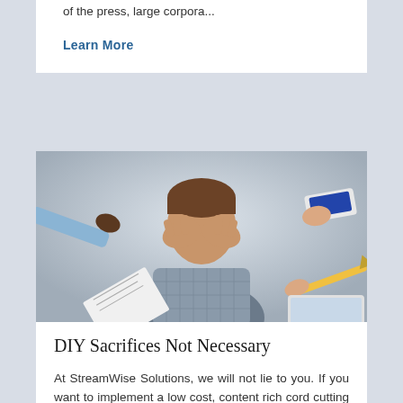of the press, large corpora...
Learn More
[Figure (photo): A stressed man holding his head in his hands with various items being thrust at him from different directions including papers, a phone, and other objects.]
DIY Sacrifices Not Necessary
At StreamWise Solutions, we will not lie to you. If you want to implement a low cost, content rich cord cutting solution then